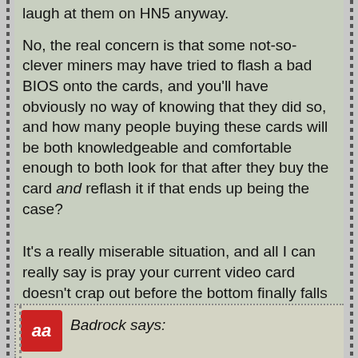laugh at them on HN5 anyway.
No, the real concern is that some not-so-clever miners may have tried to flash a bad BIOS onto the cards, and you'll have obviously no way of knowing that they did so, and how many people buying these cards will be both knowledgeable and comfortable enough to both look for that after they buy the card and reflash it if that ends up being the case?
It's a really miserable situation, and all I can really say is pray your current video card doesn't crap out before the bottom finally falls out of this mess. Although, given the fall of cryptocurrency may very well coincide with a general economic collapse, you might still be screwed there anyway...
Reply
Badrock says: